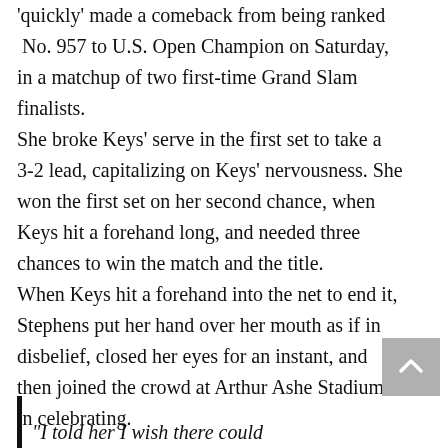'quickly' made a comeback from being ranked No. 957 to U.S. Open Champion on Saturday, in a matchup of two first-time Grand Slam finalists. She broke Keys' serve in the first set to take a 3-2 lead, capitalizing on Keys' nervousness. She won the first set on her second chance, when Keys hit a forehand long, and needed three chances to win the match and the title. When Keys hit a forehand into the net to end it, Stephens put her hand over her mouth as if in disbelief, closed her eyes for an instant, and then joined the crowd at Arthur Ashe Stadium in celebrating.
“I told her I wish there could